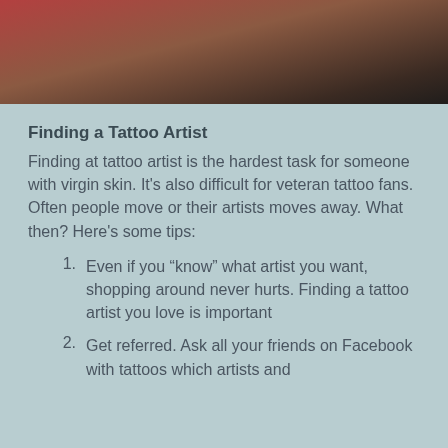[Figure (photo): Top portion of a photo showing a person, with reddish-brown and dark tones, partially cropped]
Finding a Tattoo Artist
Finding at tattoo artist is the hardest task for someone with virgin skin. It's also difficult for veteran tattoo fans. Often people move or their artists moves away. What then? Here's some tips:
Even if you “know” what artist you want, shopping around never hurts. Finding a tattoo artist you love is important
Get referred. Ask all your friends on Facebook with tattoos which artists and